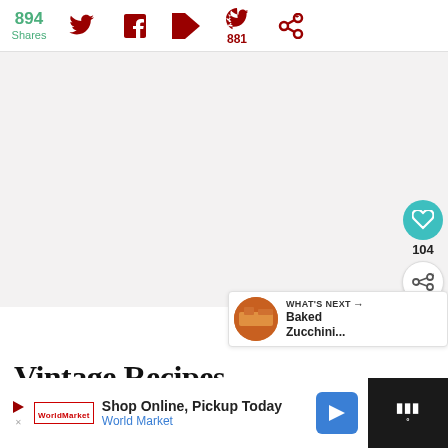894 Shares
[Figure (screenshot): Social share bar with Twitter, Facebook, Flipboard, Pinterest (881), and other share icons in dark red]
[Figure (photo): Large light gray placeholder image area (main article image)]
[Figure (infographic): Side floating buttons: teal heart/like button, count 104, and share button. What's Next card showing Baked Zucchini... with food thumbnail]
Vintage Recipes
[Figure (screenshot): Advertisement bar: Shop Online, Pickup Today - World Market, with navigation arrow icon and Walmart logo on dark background]